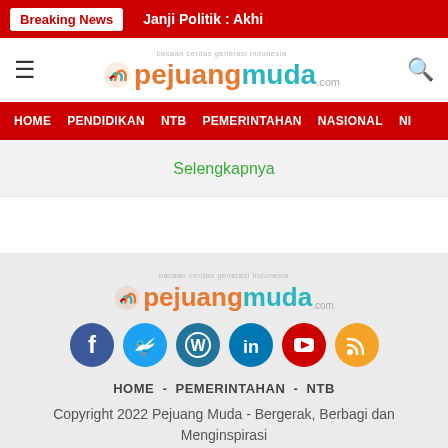Breaking News | Janji Politik : Akhi...
[Figure (logo): Pejuang Muda logo with tagline 'bacaan cerdas generasi indonesia' and hamburger menu icon on left, search icon on right]
HOME  PENDIDIKAN  NTB  PEMERINTAHAN  NASIONAL  NI
Selengkapnya
[Figure (logo): Pejuang Muda footer logo with tagline 'bacaan cerdas generasi indonesia' and social media icons: Facebook, Twitter, WordPress, LinkedIn, YouTube, RSS]
HOME - PEMERINTAHAN - NTB
Copyright 2022 Pejuang Muda - Bergerak, Berbagi dan Menginspirasi